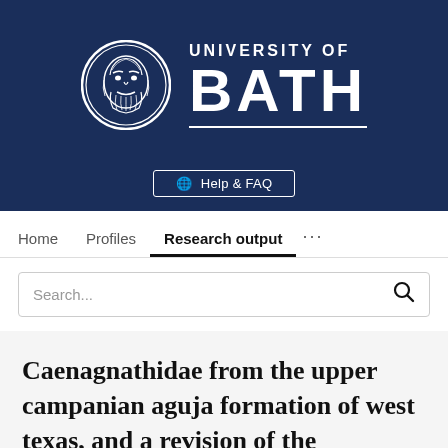[Figure (logo): University of Bath logo: circular emblem with classical face on navy blue background, with text UNIVERSITY OF BATH in white]
Help & FAQ
Home   Profiles   Research output   ...
Search...
Caenagnathidae from the upper campanian aguja formation of west texas, and a revision of the caenagnathinae